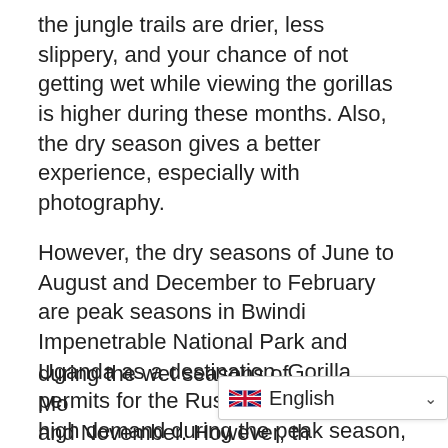the jungle trails are drier, less slippery, and your chance of not getting wet while viewing the gorillas is higher during these months. Also, the dry season gives a better experience, especially with photography.
However, the dry seasons of June to August and December to February are peak seasons in Bwindi Impenetrable National Park and Uganda as a destination. Gorilla permits for the Rushaga Sector are in high demand during the peak season, and I would highly recommend booking your permit months in advance. Or take advantage of the low season numbers, especially if you're traveling to Uganda on a budget.
During March, April, May, October, and November, roads to Rushaga may be challenging for some cars during the wet seasons of Mo[rcember, and November. However, th...